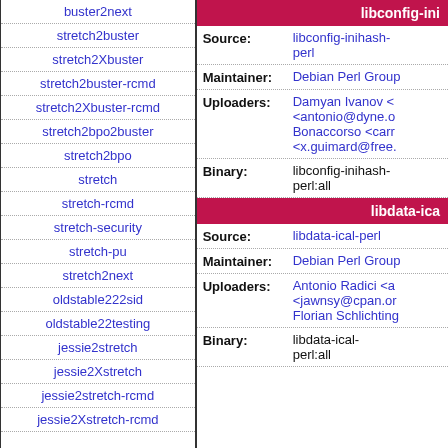buster2next
stretch2buster
stretch2Xbuster
stretch2buster-rcmd
stretch2Xbuster-rcmd
stretch2bpo2buster
stretch2bpo
stretch
stretch-rcmd
stretch-security
stretch-pu
stretch2next
oldstable222sid
oldstable22testing
jessie2stretch
jessie2Xstretch
jessie2stretch-rcmd
jessie2Xstretch-rcmd
libconfig-ini
| Field | Value |
| --- | --- |
| Source: | libconfig-inihash-perl |
| Maintainer: | Debian Perl Group |
| Uploaders: | Damyan Ivanov <  <antonio@dyne.o Bonaccorso <carr <x.guimard@free. |
| Binary: | libconfig-inihash-perl:all |
libdata-ica
| Field | Value |
| --- | --- |
| Source: | libdata-ical-perl |
| Maintainer: | Debian Perl Group |
| Uploaders: | Antonio Radici <a <jawnsy@cpan.or Florian Schlichting |
| Binary: | libdata-ical-perl:all |